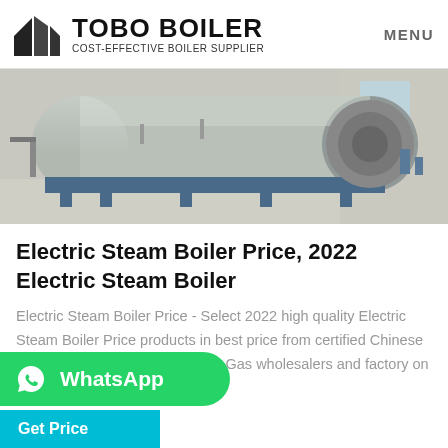[Figure (logo): Tobo Boiler logo with black geometric icon, bold text TOBO BOILER and subtitle COST-EFFECTIVE BOILER SUPPLIER, with MENU text on the right]
[Figure (photo): Industrial gas/oil steam boiler inside a factory, showing large cylindrical horizontal boiler on blue metal frame, with pipes and equipment visible, industrial setting with windows in background]
Electric Steam Boiler Price, 2022 Electric Steam Boiler
Electric Steam Boiler Price - Select 2022 high quality Electric Steam Boiler Price products in best price from certified Chinese Oil Steam Boiler manufacturers, Gas wholesalers and factory on Mad...
[Figure (logo): WhatsApp button bar in green with phone/chat icon and WhatsApp label]
Get Price